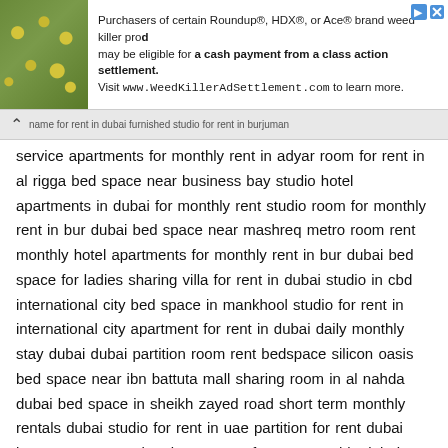[Figure (other): Advertisement banner with plant/flower background image on left, and text on right for WeedKillerAdSettlement.com class action settlement]
name for rent in dubai furnished studio for rent in burjuman service apartments for monthly rent in adyar room for rent in al rigga bed space near business bay studio hotel apartments in dubai for monthly rent studio room for monthly rent in bur dubai bed space near mashreq metro room rent monthly hotel apartments for monthly rent in bur dubai bed space for ladies sharing villa for rent in dubai studio in cbd international city bed space in mankhool studio for rent in international city apartment for rent in dubai daily monthly stay dubai dubai partition room rent bedspace silicon oasis bed space near ibn battuta mall sharing room in al nahda dubai bed space in sheikh zayed road short term monthly rentals dubai studio for rent in uae partition for rent dubai karama room rent hotel apartment for rent monthly dubai room for rent near jafiliya metro partition for rent in burjuman 2 bedroom short term rental furnished villa for rent in dubai short term studio rental dubai villa for rent in dubai al